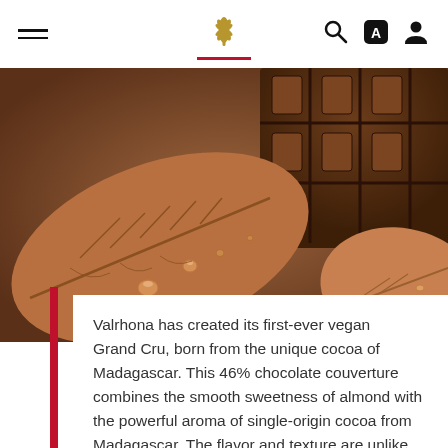Valrhona website header with hamburger menu, logo, search, app and user icons
[Figure (photo): Close-up macro photograph of cocoa/cacao leaves with water droplets and chocolate bar pieces in dark brown tones]
Valrhona has created its first-ever vegan Grand Cru, born from the unique cocoa of Madagascar. This 46% chocolate couverture combines the smooth sweetness of almond with the powerful aroma of single-origin cocoa from Madagascar. The flavor and texture are unlike anything else...